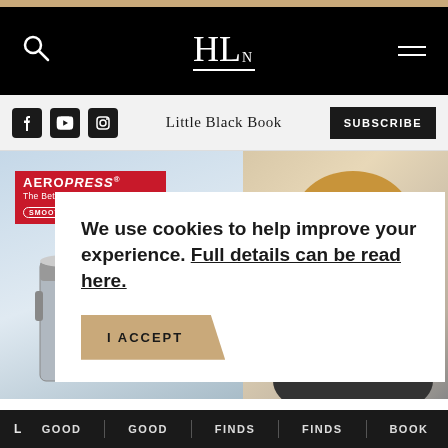[Figure (screenshot): Website screenshot of HLN (Helen Lee Nutrition or similar) showing navigation bar with search icon, HLN logo, and hamburger menu on black background]
Little Black Book  SUBSCRIBE
[Figure (photo): AeroPress coffee maker product photo on left side, woman smiling on right side]
We use cookies to help improve your experience. Full details can be read here.
I ACCEPT
L... GOOD  GOOD  FINDS  FINDS  BOOK